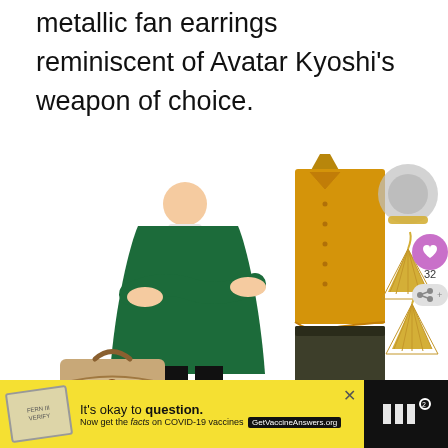metallic fan earrings reminiscent of Avatar Kyoshi's weapon of choice.
[Figure (photo): Fashion collage showing: a dark green open-front cardigan worn by a woman with arms crossed, a mustard/yellow sleeveless button-up blouse, a metallic textured ring on a gold band, gold metallic fan-shaped earrings, dark olive/black cropped pants, a brown and beige patterned backpack, and partially visible brown boots. A purple heart like button shows 32 likes, and a share button icon are visible on the right side.]
It's okay to question. Now get the facts on COVID-19 vaccines GetVaccineAnswers.org